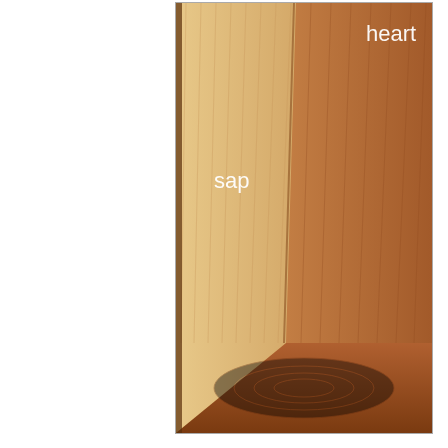[Figure (photo): Close-up photo of a wood plank cross-section showing two distinct zones: lighter sapwood (labeled 'sap') on the left and darker heartwood (labeled 'heart') on the right. The grain lines run lengthwise and the end grain is visible at the bottom.]
b)  Sapwood: Sapwood is the younger, outermost wood. In the growing tree it is living wood. Its principal functions are to conduct water from the roots to the leaves. It also store up and give back aecording to the season the reserves prepared in the leaves. All xylem tracheids and vessels have lost their cytoplasm and the cells are therefore functionally dead in sapwood. All wood in a tree is first formed as sapwood. The number...